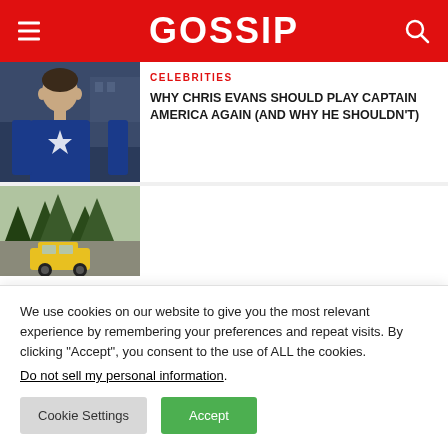GOSSIP
CELEBRITIES
WHY CHRIS EVANS SHOULD PLAY CAPTAIN AMERICA AGAIN (AND WHY HE SHOULDN'T)
[Figure (photo): Photo of Chris Evans dressed as Captain America in a blue suit with a star on the chest]
[Figure (photo): Outdoor photo showing trees and a yellow vehicle]
We use cookies on our website to give you the most relevant experience by remembering your preferences and repeat visits. By clicking “Accept”, you consent to the use of ALL the cookies.
Do not sell my personal information.